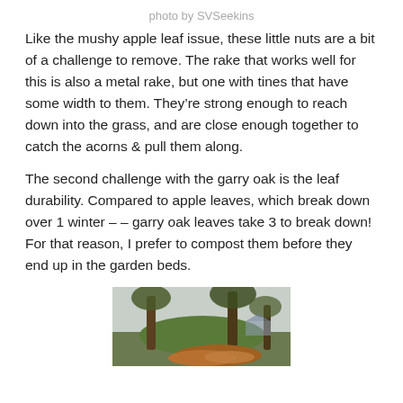photo by SVSeekins
Like the mushy apple leaf issue, these little nuts are a bit of a challenge to remove.  The rake that works well for this is also a metal rake, but one with tines that have some width to them.  They’re strong enough to reach down into the grass, and are close enough together to catch the acorns & pull them along.
The second challenge with the garry oak is the leaf durability.  Compared to apple leaves, which break down over 1 winter – – garry oak leaves take 3 to break down!  For that reason, I prefer to compost them before they end up in the garden beds.
[Figure (photo): Outdoor garden scene with trees, green mound/hill, and a pile of autumn leaves on the ground]